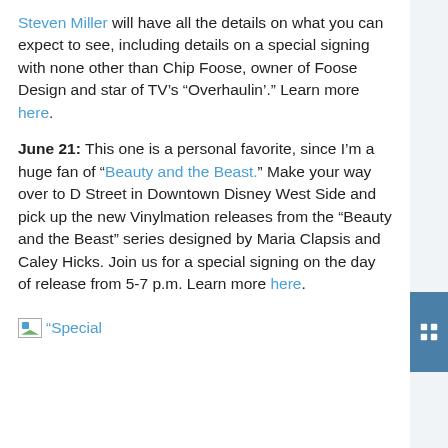Steven Miller will have all the details on what you can expect to see, including details on a special signing with none other than Chip Foose, owner of Foose Design and star of TV's “Overhaulin’.” Learn more here.
June 21: This one is a personal favorite, since I’m a huge fan of “Beauty and the Beast.” Make your way over to D Street in Downtown Disney West Side and pick up the new Vinylmation releases from the “Beauty and the Beast” series designed by Maria Clapsis and Caley Hicks. Join us for a special signing on the day of release from 5-7 p.m. Learn more here.
[Figure (photo): Broken image placeholder with alt text “Special”]